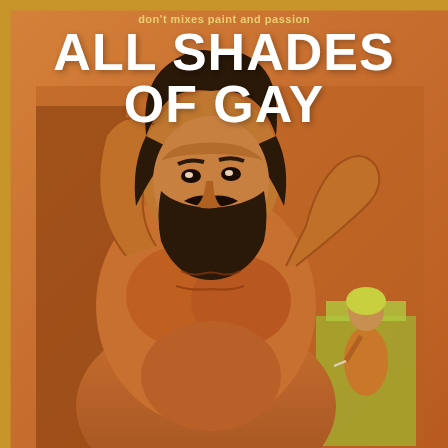don't mixes paint and passion
ALL SHADES OF GAY
[Figure (illustration): Vintage pulp fiction book cover illustration showing a large muscular bearded shirtless man with his hands behind his head in the foreground, and a smaller blond figure seated in the background, painted in warm orange and amber tones.]